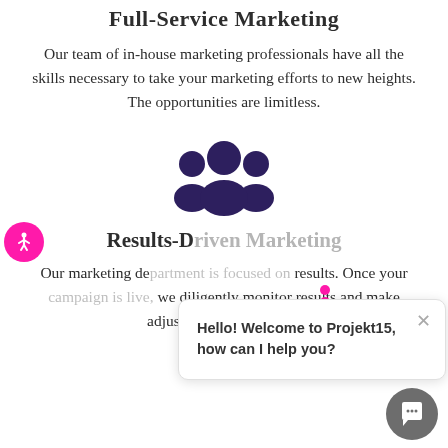Full-Service Marketing
Our team of in-house marketing professionals have all the skills necessary to take your marketing efforts to new heights. The opportunities are limitless.
[Figure (illustration): Dark purple group/team icon with three people silhouettes]
Results-D[riven Marketing]
Our marketing de[partment is focused on] results. Once your [campaign is live,] we diligently monitor results and make adjustments accordingly.
[Figure (other): Accessibility icon - pink circle with white stick figure]
[Figure (other): Chat popup with message: Hello! Welcome to Projekt15, how can I help you?]
[Figure (other): Gray chat launcher button at bottom right]